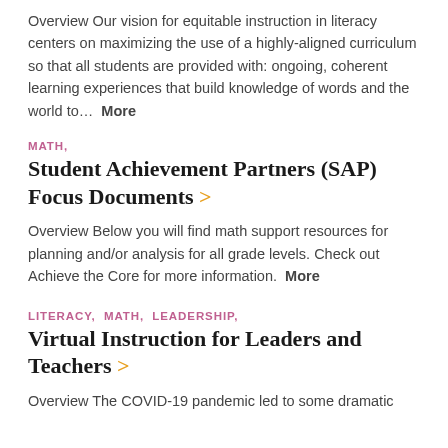Overview Our vision for equitable instruction in literacy centers on maximizing the use of a highly-aligned curriculum so that all students are provided with: ongoing, coherent learning experiences that build knowledge of words and the world to…  More
MATH,
Student Achievement Partners (SAP) Focus Documents >
Overview Below you will find math support resources for planning and/or analysis for all grade levels. Check out Achieve the Core for more information.  More
LITERACY, MATH, LEADERSHIP,
Virtual Instruction for Leaders and Teachers >
Overview The COVID-19 pandemic led to some dramatic